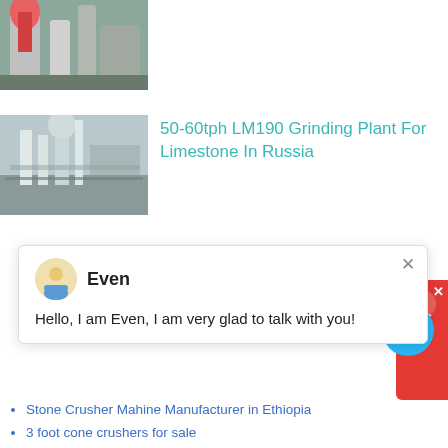[Figure (photo): Industrial grinding/milling equipment at production facility, partially visible at top]
[Figure (photo): LM190 Grinding Plant interior showing industrial equipment with scaffolding and pipes]
50-60tph LM190 Grinding Plant For Limestone In Russia
[Figure (infographic): Customer support chat popup with avatar of agent named 'Even' and message 'Hello, I am Even, I am very glad to talk with you!']
Stone Crusher Mahine Manufacturer in Ethiopia
3 foot cone crushers for sale
mining vehicles underground
crushed aggregate ethiopia quarry crusher
copper mining equipment manufacturer
nigeria talc grinding plant for sale
compound cone crusher gold equipment
harvester hammer mill ball mill relining standard operating